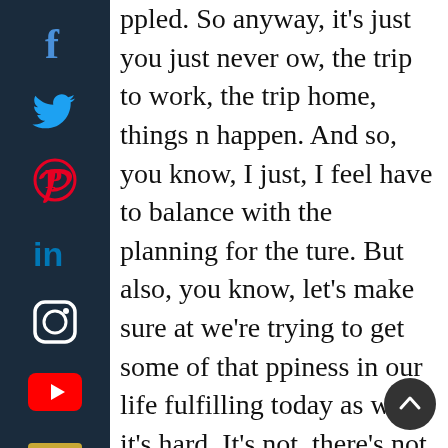[Figure (other): Social media sidebar with icons for Facebook, Twitter, Pinterest, LinkedIn, Instagram, YouTube, and Email on a dark navy background]
ppled. So anyway, it's just you just never ow, the trip to work, the trip home, things n happen. And so, you know, I just, I feel have to balance with the planning for the ture. But also, you know, let's make sure at we're trying to get some of that ppiness in our life fulfilling today as well. it's hard. It's not, there's not easy, not sy, for sure. But
Randi  33:21
now, it's interesting, because that's exactly the conversation I have with a lot of clients